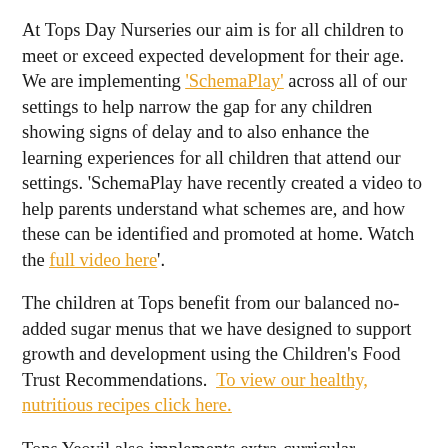At Tops Day Nurseries our aim is for all children to meet or exceed expected development for their age. We are implementing 'SchemaPlay' across all of our settings to help narrow the gap for any children showing signs of delay and to also enhance the learning experiences for all children that attend our settings. 'SchemaPlay have recently created a video to help parents understand what schemes are, and how these can be identified and promoted at home. Watch the full video here'.
The children at Tops benefit from our balanced no-added sugar menus that we have designed to support growth and development using the Children's Food Trust Recommendations. To view our healthy, nutritious recipes click here.
Tops Yeovil also implements extra-curricular activities in